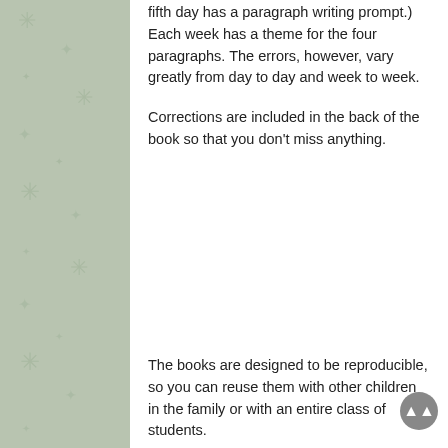fifth day has a paragraph writing prompt.) Each week has a theme for the four paragraphs. The errors, however, vary greatly from day to day and week to week.
Corrections are included in the back of the book so that you don't miss anything.
The books are designed to be reproducible, so you can reuse them with other children in the family or with an entire class of students.